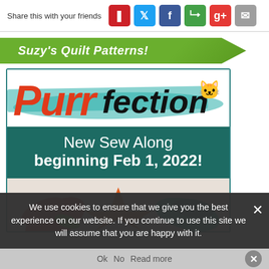Share this with your friends
Suzy's Quilt Patterns!
[Figure (screenshot): Purrfection quilt sew-along promotional banner with logo, 'New Sew Along beginning Feb 1, 2022!' text, and colorful quilt block imagery]
We use cookies to ensure that we give you the best experience on our website. If you continue to use this site we will assume that you are happy with it.
Ok   No   Read more